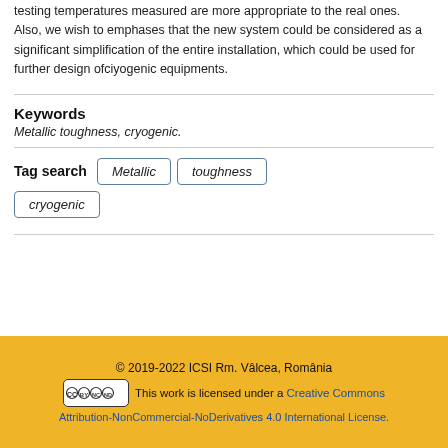testing temperatures measured are more appropriate to the real ones.
Also, we wish to emphases that the new system could be considered as a significant simplification of the entire installation, which could be used for further design ofciyogenic equipments.
Keywords
Metallic toughness, cryogenic.
Tag search  Metallic  toughness  cryogenic
© 2019-2022 ICSI Rm. Vâlcea, România
This work is licensed under a Creative Commons Attribution-NonCommercial-NoDerivatives 4.0 International License.